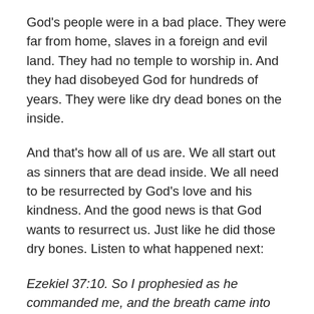God's people were in a bad place. They were far from home, slaves in a foreign and evil land. They had no temple to worship in. And they had disobeyed God for hundreds of years. They were like dry dead bones on the inside.
And that's how all of us are. We all start out as sinners that are dead inside. We all need to be resurrected by God's love and his kindness. And the good news is that God wants to resurrect us. Just like he did those dry bones. Listen to what happened next:
Ezekiel 37:10. So I prophesied as he commanded me, and the breath came into them, and they lived and stood on their feet, an exceedingly great army.